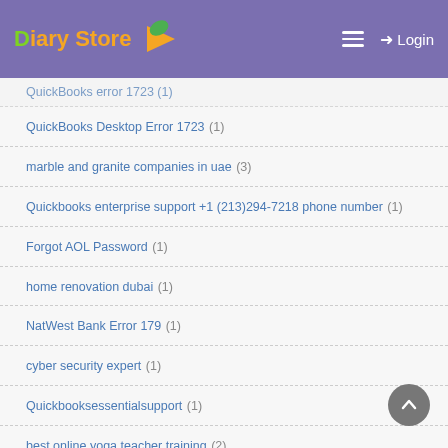Diary Store — Login
QuickBooks Desktop Error 1723 (1)
marble and granite companies in uae (3)
Quickbooks enterprise support +1 (213)294-7218 phone number (1)
Forgot AOL Password (1)
home renovation dubai (1)
NatWest Bank Error 179 (1)
cyber security expert (1)
Quickbooksessentialsupport (1)
best online yoga teacher training (2)
marble suppliers in abu dhabi (3)
Software Development in Houston (12)